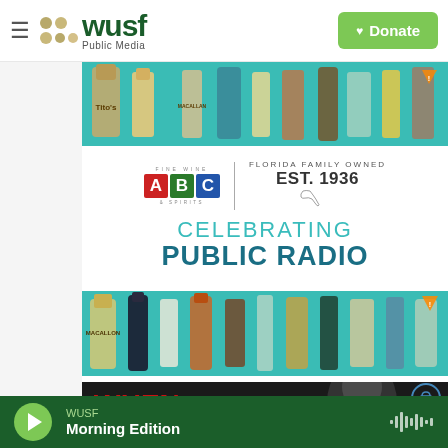WUSF Public Media — Donate
[Figure (screenshot): WUSF Public Media website header with hamburger menu, logo with gold dots and green WUSF wordmark, and green Donate button]
[Figure (photo): Top banner showing wine and spirit bottles on teal background]
[Figure (advertisement): ABC Fine Wine & Spirits ad: logo with A (red), B (green), C (blue) colored squares, Florida Family Owned Est. 1936, CELEBRATING PUBLIC RADIO]
[Figure (photo): Bottom banner showing wine and spirit bottles on teal background including Macallan and other brands]
[Figure (photo): WHEN FREEDOM promotional image with bold red and white text on dark background]
WUSF — Morning Edition